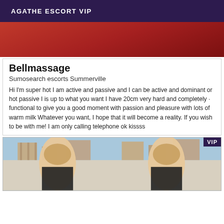AGATHE ESCORT VIP
[Figure (photo): Partial photo showing red background, top of image cropped]
Bellmassage
Sumosearch escorts Summerville
Hi I'm super hot I am active and passive and I can be active and dominant or hot passive I is up to what you want I have 20cm very hard and completely · functional to give you a good moment with passion and pleasure with lots of warm milk Whatever you want, I hope that it will become a reality. If you wish to be with me! I am only calling telephone ok kissss
[Figure (photo): Two side-by-side photos of a blonde woman with glasses standing outdoors in front of buildings. VIP badge in top right corner.]